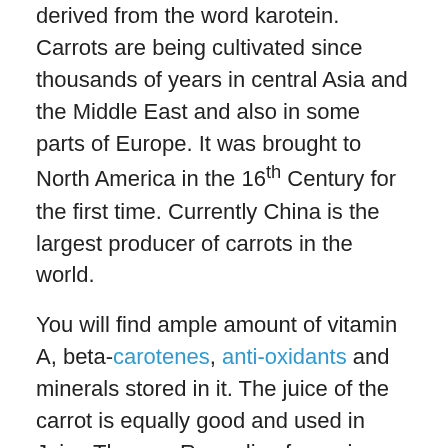derived from the word karotein. Carrots are being cultivated since thousands of years in central Asia and the Middle East and also in some parts of Europe. It was brought to North America in the 16th Century for the first time. Currently China is the largest producer of carrots in the world.
You will find ample amount of vitamin A, beta-carotenes, anti-oxidants and minerals stored in it. The juice of the carrot is equally good and used in Juice Therapy Remedies for curing several diseases. It is recommended by many doctors to take at least one glass of carrot juice, especially children; it will help you and your child combat many diseases. The benefits that carrot juice will provide you will compel you to call it a Miracle juice.
Now let's take a review of what carrot has to offer for your